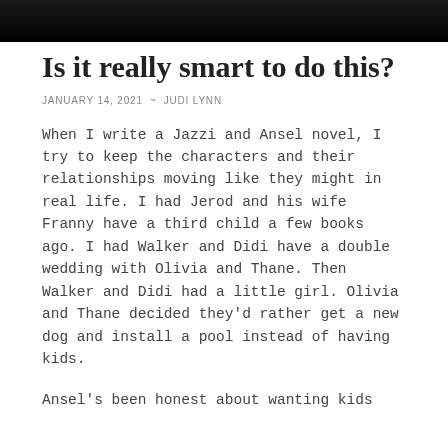[Figure (photo): Dark/black banner image at the top of the page, appears to be a cropped photograph with very dark tones]
Is it really smart to do this?
JANUARY 14, 2021  ~  JUDI LYNN
When I write a Jazzi and Ansel novel, I try to keep the characters and their relationships moving like they might in real life. I had Jerod and his wife Franny have a third child a few books ago. I had Walker and Didi have a double wedding with Olivia and Thane. Then Walker and Didi had a little girl. Olivia and Thane decided they'd rather get a new dog and install a pool instead of having kids.
Ansel's been honest about wanting kids